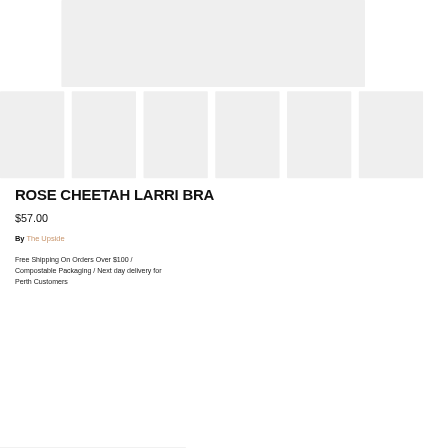[Figure (photo): Main product image placeholder – large light grey rectangle]
[Figure (photo): Row of 6 thumbnail image placeholders – small light grey rectangles]
ROSE CHEETAH LARRI BRA
$57.00
By The Upside
Free Shipping On Orders Over $100 / Compostable Packaging / Next day delivery for Perth Customers